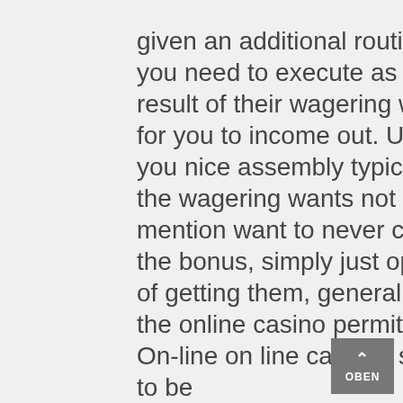given an additional routinely, you need to execute as a result of their wagering wants for you to income out. Until you nice assembly typically the wagering wants not to mention want to never contain the bonus, simply just opt out of getting them, generally if the online casino permits you. On-line on line casinos seem to be